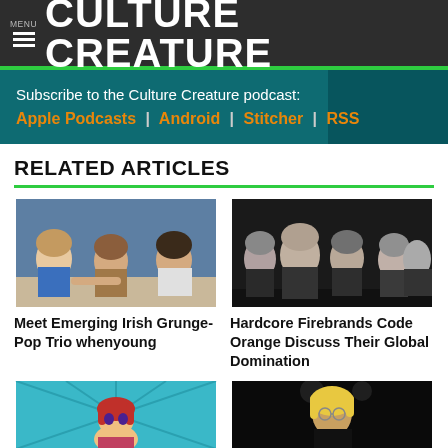MENU ≡ CULTURE CREATURE
Subscribe to the Culture Creature podcast: Apple Podcasts | Android | Stitcher | RSS
RELATED ARTICLES
[Figure (photo): Three young women (Irish band whenyoung) sitting at a table indoors, color photo]
Meet Emerging Irish Grunge-Pop Trio whenyoung
[Figure (photo): Black and white photo of hardcore band Code Orange, five members standing together]
Hardcore Firebrands Code Orange Discuss Their Global Domination
[Figure (photo): Anime-style illustration of a girl with red hair, teal background]
[Figure (photo): Concert photo of a performer with blonde hair on a dark stage]